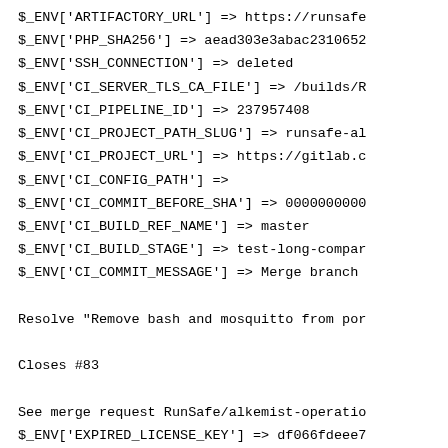$_ENV['ARTIFACTORY_URL'] => https://runsafe
$_ENV['PHP_SHA256'] => aead303e3abac2310652
$_ENV['SSH_CONNECTION'] => deleted
$_ENV['CI_SERVER_TLS_CA_FILE'] => /builds/R
$_ENV['CI_PIPELINE_ID'] => 237957408
$_ENV['CI_PROJECT_PATH_SLUG'] => runsafe-al
$_ENV['CI_PROJECT_URL'] => https://gitlab.c
$_ENV['CI_CONFIG_PATH'] =>
$_ENV['CI_COMMIT_BEFORE_SHA'] => 0000000000
$_ENV['CI_BUILD_REF_NAME'] => master
$_ENV['CI_BUILD_STAGE'] => test-long-compar
$_ENV['CI_COMMIT_MESSAGE'] => Merge branch

Resolve "Remove bash and mosquitto from por

Closes #83

See merge request RunSafe/alkemist-operatio
$_ENV['EXPIRED_LICENSE_KEY'] => df066fdeee7